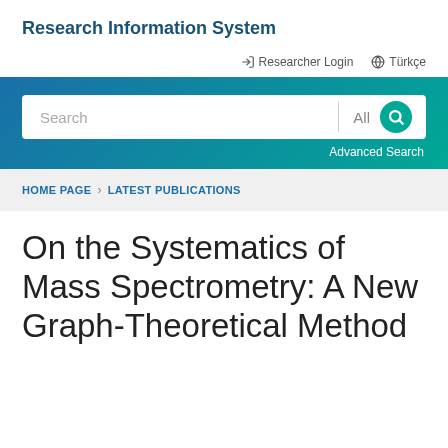Research Information System
Researcher Login   Türkçe
[Figure (screenshot): Search bar with text input, 'All' dropdown, and green search button icon on a teal-to-blue gradient background, with 'Advanced Search' link below]
HOME PAGE > LATEST PUBLICATIONS
On the Systematics of Mass Spectrometry: A New Graph-Theoretical Method